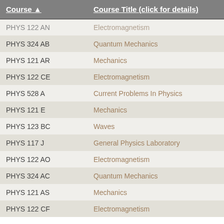| Course ▲ | Course Title (click for details) |
| --- | --- |
| PHYS 122 AN | Electromagnetism |
| PHYS 324 AB | Quantum Mechanics |
| PHYS 121 AR | Mechanics |
| PHYS 122 CE | Electromagnetism |
| PHYS 528 A | Current Problems In Physics |
| PHYS 121 E | Mechanics |
| PHYS 123 BC | Waves |
| PHYS 117 J | General Physics Laboratory |
| PHYS 122 AO | Electromagnetism |
| PHYS 324 AC | Quantum Mechanics |
| PHYS 121 AS | Mechanics |
| PHYS 122 CF | Electromagnetism |